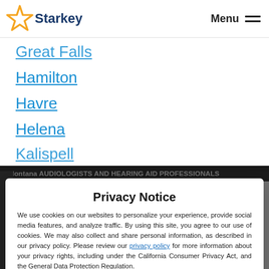Starkey | Menu
Great Falls
Hamilton
Havre
Helena
Kalispell
Montana AUDIOLOGISTS AND HEARING AID PROFESSIONALS
Privacy Notice
We use cookies on our websites to personalize your experience, provide social media features, and analyze traffic. By using this site, you agree to our use of cookies. We may also collect and share personal information, as described in our privacy policy. Please review our privacy policy for more information about your privacy rights, including under the California Consumer Privacy Act, and the General Data Protection Regulation.
Ok